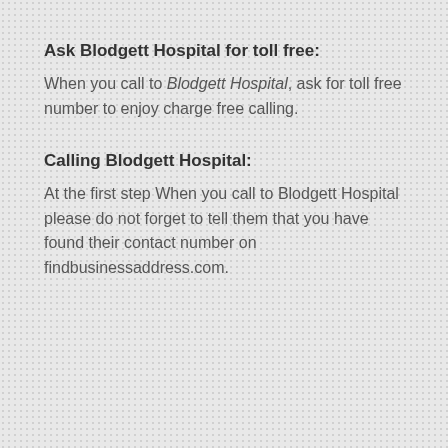Ask Blodgett Hospital for toll free:
When you call to Blodgett Hospital, ask for toll free number to enjoy charge free calling.
Calling Blodgett Hospital:
At the first step When you call to Blodgett Hospital please do not forget to tell them that you have found their contact number on findbusinessaddress.com.